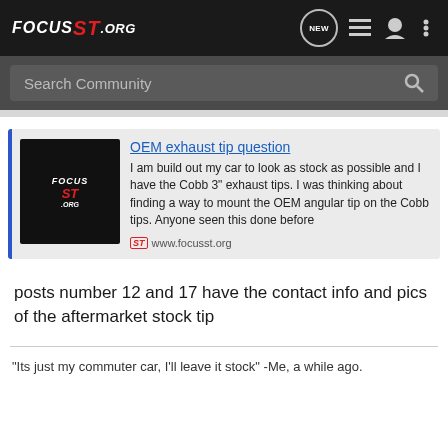FOCUS ST.ORG
Search Community
[Figure (screenshot): FocusST.org forum post card showing 'OEM exhaust tip question' with logo thumbnail, post excerpt, and site URL]
posts number 12 and 17 have the contact info and pics of the aftermarket stock tip
"Its just my commuter car, I'll leave it stock" -Me, a while ago.